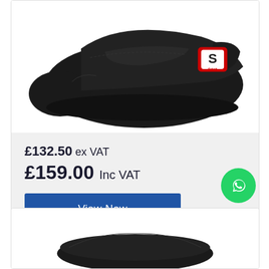[Figure (photo): Black racing shoe with red and white 'S' brand logo on side, viewed from top-front angle]
£132.50 ex VAT
£159.00 Inc VAT
View Now
[Figure (photo): Partial view of another racing shoe product at bottom of page]